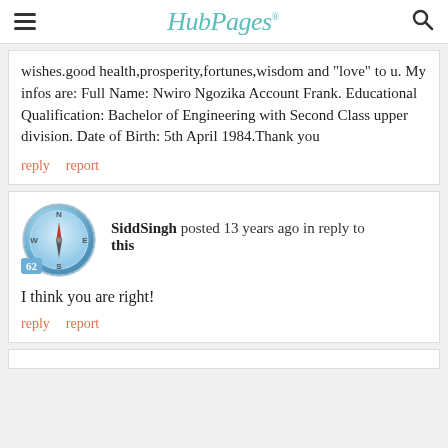HubPages
wishes.good health,prosperity,fortunes,wisdom and "love" to u. My infos are: Full Name: Nwiro Ngozika Account Frank. Educational Qualification: Bachelor of Engineering with Second Class upper division. Date of Birth: 5th April 1984.Thank you
reply   report
SiddSingh posted 13 years ago in reply to this
I think you are right!
reply   report